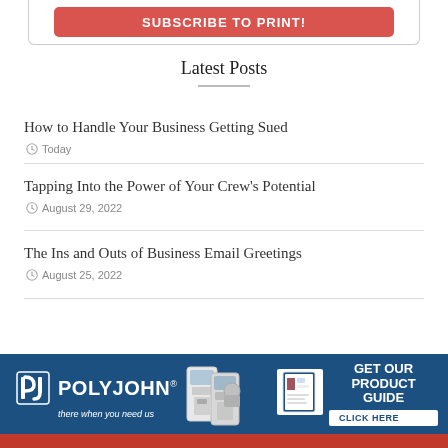[Figure (other): Red Subscribe to Print button at top]
Latest Posts
How to Handle Your Business Getting Sued
Today
Tapping Into the Power of Your Crew's Potential
August 29, 2022
The Ins and Outs of Business Email Greetings
August 25, 2022
[Figure (illustration): Polyjohn advertisement banner with logo, portable toilet units, product guide book, and 'GET OUR PRODUCT GUIDE CLICK HERE' call to action on dark blue background]